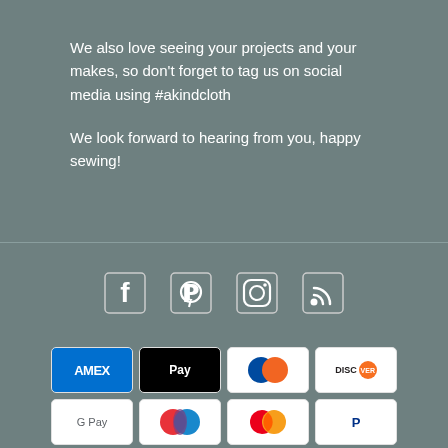We also love seeing your projects and your makes, so don't forget to tag us on social media using #akindcloth
We look forward to hearing from you, happy sewing!
[Figure (infographic): Social media icons: Facebook, Pinterest, Instagram, RSS feed]
[Figure (infographic): Payment method icons: American Express, Apple Pay, Diners Club, Discover, Google Pay, Maestro, Mastercard, PayPal, Shop Pay, Visa]
© 2022, A KIND CLOTH ENGLAND UK, T: 020 8325 2166 E: info@akindcloth.co.uk